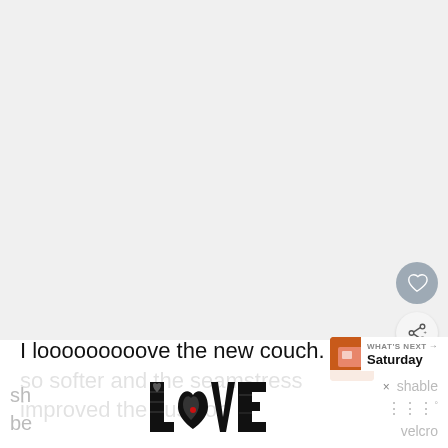[Figure (photo): Large blank/white image area, likely a photo of a couch that is not visible in this crop]
I looooooooove the new couch. It's so softer and the seamstress improved the cushion
[Figure (screenshot): What's Next banner with thumbnail image and text 'WHAT'S NEXT → Saturday']
[Figure (logo): LOVE decorative logo/text art in black with intricate patterns]
sh
be
× shable
velcro